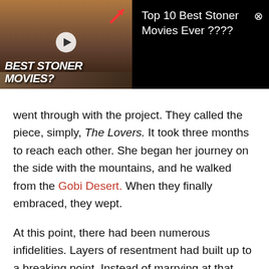[Figure (screenshot): Ad banner for 'Top 10 Best Stoner Movies Ever ????' with a video thumbnail on the left showing people and text 'BEST STONER MOVIES?' and a close button on the right]
went through with the project. They called the piece, simply, The Lovers. It took three months to reach each other. She began her journey on the side with the mountains, and he walked from the Gobi Desert. When they finally embraced, they wept.
At this point, there had been numerous infidelities. Layers of resentment had built up to a breaking point. Instead of marrying at that meeting, they broke off the relationship in a surprising twist. The idealized romantic gesture had turned a corner. The Lovers demonstrated the course of a real human relationship. As often happens in art, the meaning changed halfway along.[4]